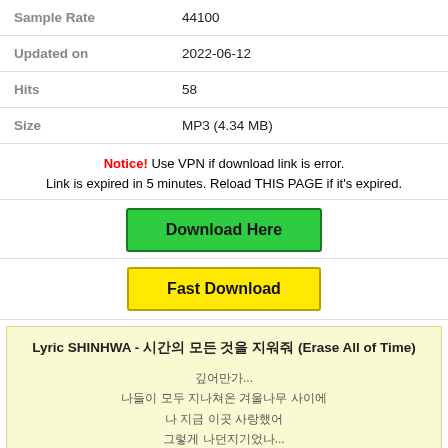| Sample Rate | 44100 |
| Updated on | 2022-06-12 |
| Hits | 58 |
| Size | MP3 (4.34 MB) |
Notice! Use VPN if download link is error. Link is expired in 5 minutes. Reload THIS PAGE if it's expired.
Download Here
Fast Download
Lyric SHINHWA - 시간의 모든 것 (Erase All of Time)

깊어만가...
나들이 모두 지나쳐온 겨울나무 사이에
나 지금 이곳 사랑했어
그렇게 나던지기었나...

나 알수없는 그 꿈 내가 꾸던 것
알고 알아 알고 알고 알고 알아져서가
알 다시는 다시는 다시는